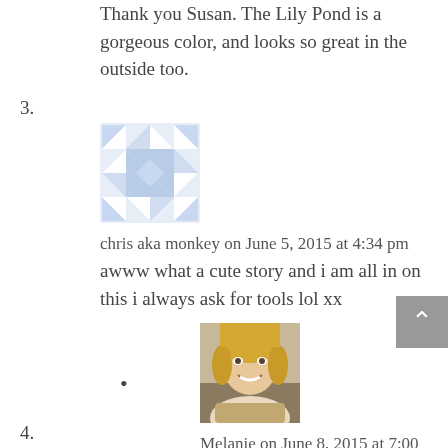Thank you Susan. The Lily Pond is a gorgeous color, and looks so great in the outside too.
3.
[Figure (illustration): Blue and white quilt-pattern avatar icon with geometric star/diamond shapes]
chris aka monkey on June 5, 2015 at 4:34 pm
awww what a cute story and i am all in on this i always ask for tools lol xx
[Figure (photo): Profile photo of a smiling blonde woman]
Melanie on June 8, 2015 at 7:00 am
Glad someone else out there understands me!!
4.